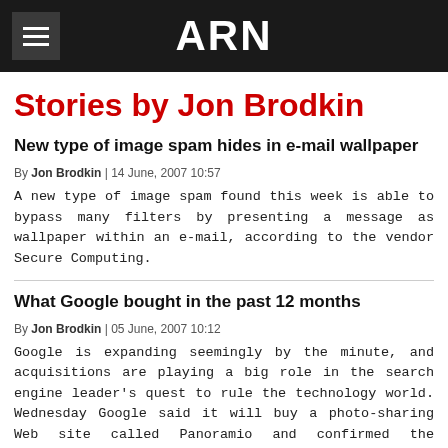ARN
Stories by Jon Brodkin
New type of image spam hides in e-mail wallpaper
By Jon Brodkin | 14 June, 2007 10:57
A new type of image spam found this week is able to bypass many filters by presenting a message as wallpaper within an e-mail, according to the vendor Secure Computing.
What Google bought in the past 12 months
By Jon Brodkin | 05 June, 2007 10:12
Google is expanding seemingly by the minute, and acquisitions are playing a big role in the search engine leader's quest to rule the technology world. Wednesday Google said it will buy a photo-sharing Web site called Panoramio and confirmed the acquisition of security software vendor GreenBorder Technologies. There are rumors Google will also purchase a provider of online RSS feeds